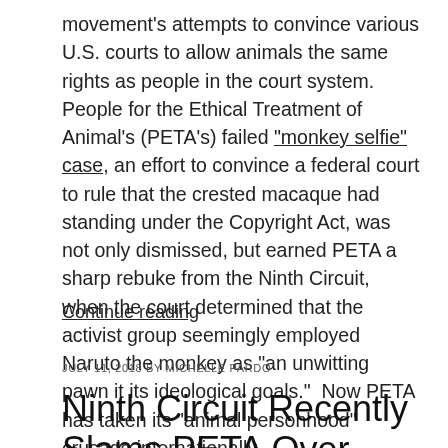movement's attempts to convince various U.S. courts to allow animals the same rights as people in the court system.  People for the Ethical Treatment of Animal's (PETA's) failed "monkey selfie" case, an effort to convince a federal court to rule that the crested macaque had standing under the Copyright Act, was not only dismissed, but earned PETA a sharp rebuke from the Ninth Circuit, when the court determined that the activist group seemingly employed Naruto the monkey as "an unwitting pawn it its ideological goals."  Now PETA has taken its "animal personhood" crusade internationally.
Continue reading
JULY 11, 2018 BY MICHELLE PARDO
Ninth Circuit Recently Slams PETA Over Monkey Selfie Lawsuit